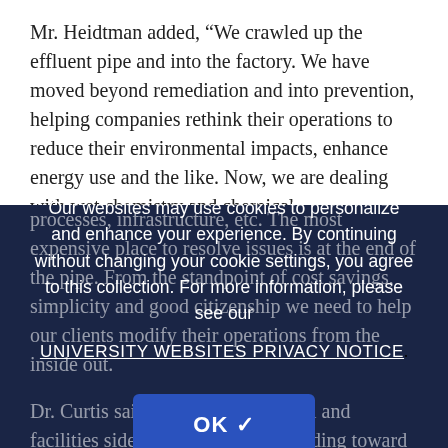Mr. Heidtman added, “We crawled up the effluent pipe and into the factory. We have moved beyond remediation and into prevention, helping companies rethink their operations to reduce their environmental impacts, enhance energy use and the like. Now, we are dealing with wet chemistry and chemical
processes, infrastructure, etc. The most expensive place to resolve issues is at the end of the pipe. From the standpoint of cost savings, simplicity and good citizenship we need to help our clients modify their operations from the inside out.
Our websites may use cookies to personalize and enhance your experience. By continuing without changing your cookie settings, you agree to this collection. For more information, please see our UNIVERSITY WEBSITES PRIVACY NOTICE.
OK ✓
Dr. Curtis said, “The environmental and facilities side of the business is heading toward reducing our clients’ carbon footprint. LEED (Leadership in Energy & Environmental Design, a Green Building Rating System) certification has emerged as an important goal for